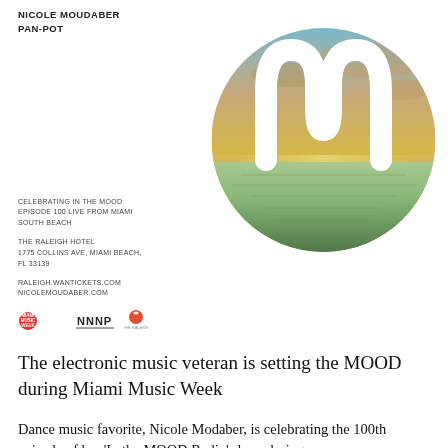NICOLE MOUDABER
PAN-POT
[Figure (illustration): Circular image showing a sunset over water with a white stylized M logo (MOOD logo) overlaid on top. The circle contains warm sunset tones of orange, yellow, green and blue with a reflective water surface.]
CELEBRATING IN THE MOOD
EPISODE 100 LIVE FROM MIAMI
SOUTH BEACH

THE RALEIGH HOTEL
1775 COLLINS AVE, MIAMI BEACH,
FL 33139

RALEIGH.WANTICKETS.COM
NICOLEMOUDABER.COM
[Figure (logo): Miami Music Week logo, NNNP logo, and The Raleigh hotel logo displayed in a row]
The electronic music veteran is setting the MOOD during Miami Music Week
Dance music favorite, Nicole Modaber, is celebrating the 100th episode of her 'In the MOOD Radio' show during